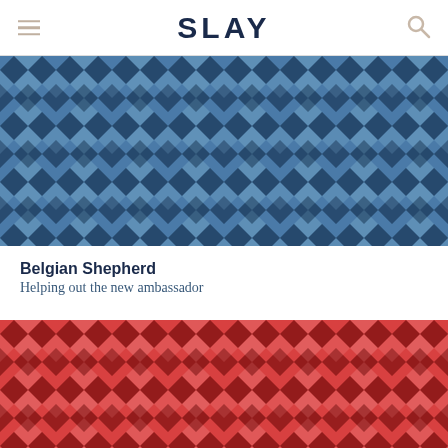SLAY
[Figure (illustration): Blue woven/braided geometric pattern background in shades of navy and steel blue]
Belgian Shepherd
Helping out the new ambassador
[Figure (illustration): Red woven/braided geometric pattern background in shades of crimson and dark red]